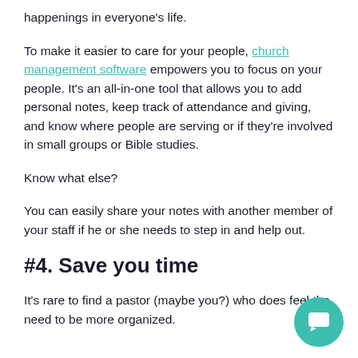happenings in everyone's life.
To make it easier to care for your people, church management software empowers you to focus on your people. It's an all-in-one tool that allows you to add personal notes, keep track of attendance and giving, and know where people are serving or if they're involved in small groups or Bible studies.
Know what else?
You can easily share your notes with another member of your staff if he or she needs to step in and help out.
#4. Save you time
It's rare to find a pastor (maybe you?) who does feel the need to be more organized.